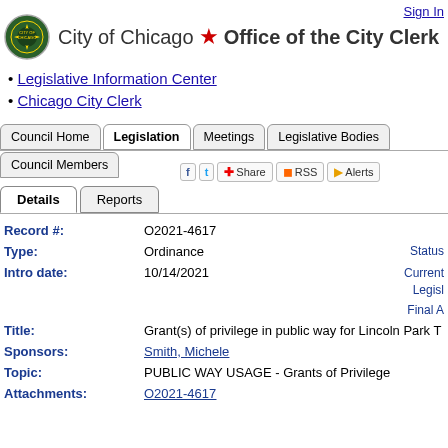Sign In
City of Chicago ★ Office of the City Clerk
Legislative Information Center
Chicago City Clerk
Council Home | Legislation | Meetings | Legislative Bodies | Council Members
| Field | Value | Status |
| --- | --- | --- |
| Record #: | O2021-4617 |  |
| Type: | Ordinance | Status |
| Intro date: | 10/14/2021 | Current Legislation
Final |
| Title: | Grant(s) of privilege in public way for Lincoln Park T |  |
| Sponsors: | Smith, Michele |  |
| Topic: | PUBLIC WAY USAGE - Grants of Privilege |  |
| Attachments: | O2021-4617.pdf |  |